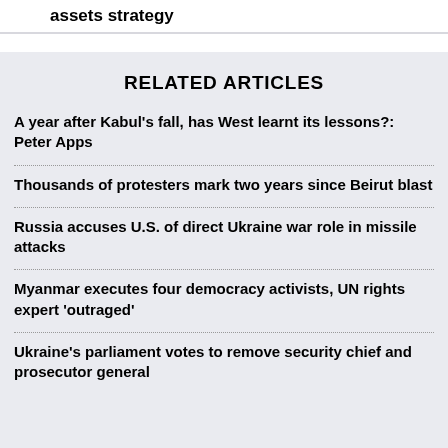assets strategy
RELATED ARTICLES
A year after Kabul's fall, has West learnt its lessons?: Peter Apps
Thousands of protesters mark two years since Beirut blast
Russia accuses U.S. of direct Ukraine war role in missile attacks
Myanmar executes four democracy activists, UN rights expert 'outraged'
Ukraine's parliament votes to remove security chief and prosecutor general